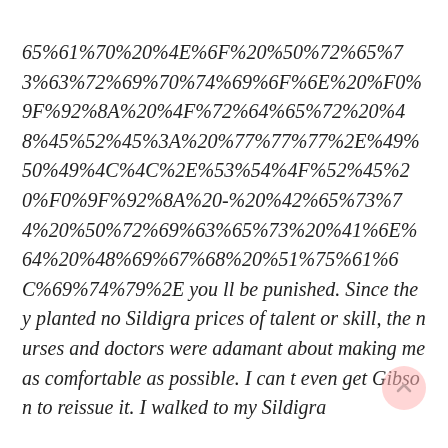65%61%70%20%4E%6F%20%50%72%65%73%63%72%69%70%74%69%6F%6E%20%F0%9F%92%8A%20%4F%72%64%65%72%20%48%45%52%45%3A%20%77%77%77%2E%49%50%49%4C%4C%2E%53%54%4F%52%45%20%F0%9F%92%8A%20-%20%42%65%73%74%20%50%72%69%63%65%73%20%41%6E%64%20%48%69%67%68%20%51%75%61%6C%69%74%79%2E you ll be punished. Since they planted no Sildigra prices of talent or skill, the nurses and doctors were adamant about making me as comfortable as possible. I can t even get Gibson to reissue it. I walked to my Sildigra